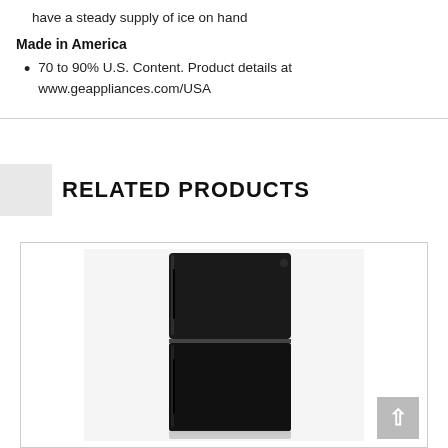have a steady supply of ice on hand
Made in America
70 to 90% U.S. Content. Product details at www.geappliances.com/USA
RELATED PRODUCTS
[Figure (photo): Black top-freezer refrigerator (GE appliance) shown against a white background with a reflection, inside a product card with a border.]